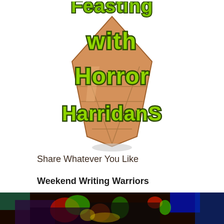[Figure (illustration): Logo illustration of an ice cream cone with green bubbly text reading 'with Horror Harridans' overlaid, partial top text cut off]
Share Whatever You Like
Weekend Writing Warriors
[Figure (photo): Dark colorful glitchy/rainbow tinted photo of plants or figures in low light]